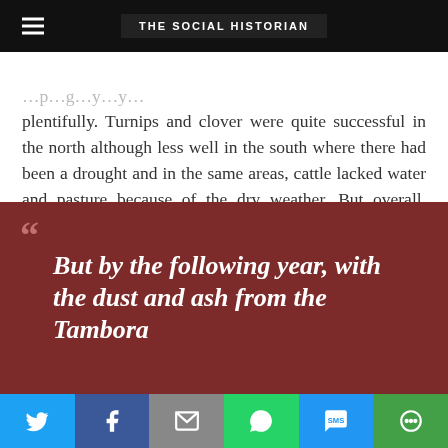THE SOCIAL HISTORIAN
plentifully. Turnips and clover were quite successful in the north although less well in the south where there had been a drought and in the same areas, cattle lacked water and pasture because of the dry weather. But overall, however the country rejoiced about the ‘real and fortunate characteristic of the now complete harvest of Great Britain and Ireland.’ 3
But by the following year, with the dust and ash from the Tambora